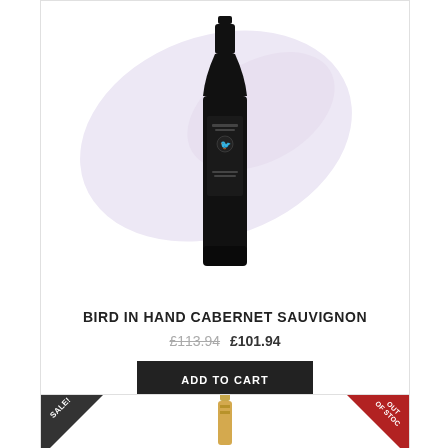[Figure (photo): Dark wine bottle with black label featuring a bird logo, against a faint purple swoosh background]
BIRD IN HAND CABERNET SAUVIGNON
£113.94 £101.94
ADD TO CART
DETAILS
WISHLIST
COMPARE
SHARE
[Figure (photo): Partial view of a second product card with SALE! badge and OUT OF STOCK badge, showing the top of a gold wine bottle cap]